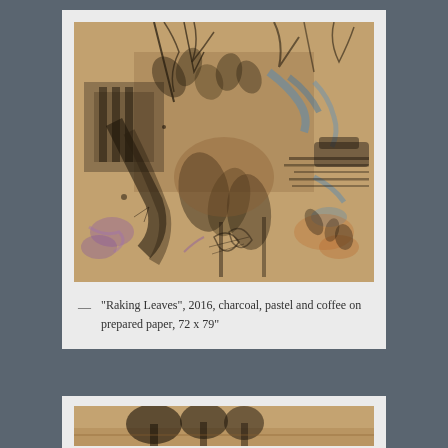[Figure (photo): Artwork titled 'Raking Leaves', 2016. A large mixed-media work on prepared paper using charcoal, pastel and coffee. The image shows layered, overlapping vegetation, tree branches, leaves, and architectural elements rendered in warm brown tones with accents of blue, purple and black charcoal marks.]
"Raking Leaves", 2016, charcoal, pastel and coffee on prepared paper, 72 x 79"
[Figure (photo): Partial view of a second artwork below, showing a landscape with trees in warm brown tones, only partially visible at the bottom of the page.]